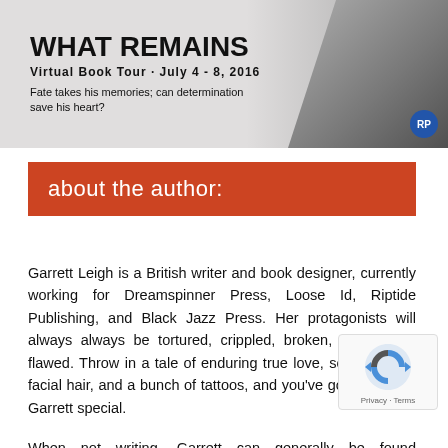[Figure (illustration): Book tour banner for 'What Remains' virtual book tour, July 4-8, 2016. Dark moody background with a bearded man's face on the right side. Text reads: WHAT REMAINS, VIRTUAL BOOK TOUR · JULY 4 - 8, 2016, Fate takes his memories; can determination save his heart? RP logo bottom right.]
about the author:
Garrett Leigh is a British writer and book designer, currently working for Dreamspinner Press, Loose Id, Riptide Publishing, and Black Jazz Press. Her protagonists will always always be tortured, crippled, broken, and deeply flawed. Throw in a tale of enduring true love, some stubbly facial hair, and a bunch of tattoos, and you've got yourself a Garrett special.
When not writing, Garrett can generally be found procrastinating on Twitter, cooking up a storm, or sitting her behind doing as little as possible. That, and dreaming up new ways to torture her characters. Garrett believes in happ...